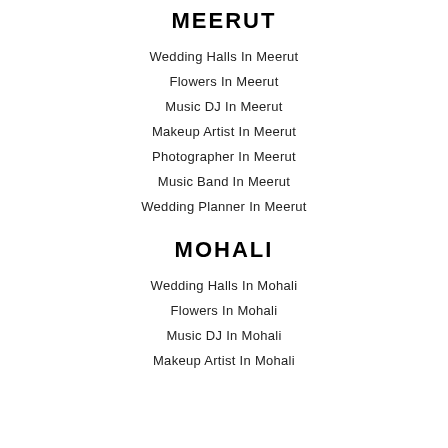MEERUT
Wedding Halls In Meerut
Flowers In Meerut
Music DJ In Meerut
Makeup Artist In Meerut
Photographer In Meerut
Music Band In Meerut
Wedding Planner In Meerut
MOHALI
Wedding Halls In Mohali
Flowers In Mohali
Music DJ In Mohali
Makeup Artist In Mohali